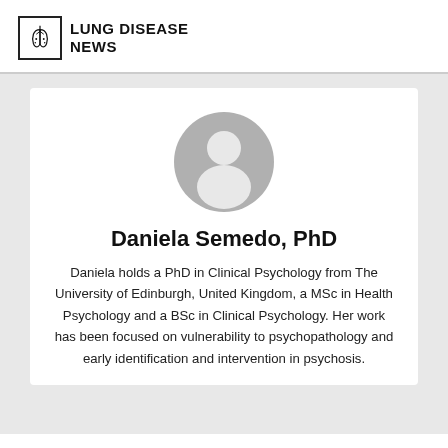LUNG DISEASE NEWS
[Figure (illustration): Generic user avatar placeholder — grey circle with white silhouette of a person (head and shoulders)]
Daniela Semedo, PhD
Daniela holds a PhD in Clinical Psychology from The University of Edinburgh, United Kingdom, a MSc in Health Psychology and a BSc in Clinical Psychology. Her work has been focused on vulnerability to psychopathology and early identification and intervention in psychosis.